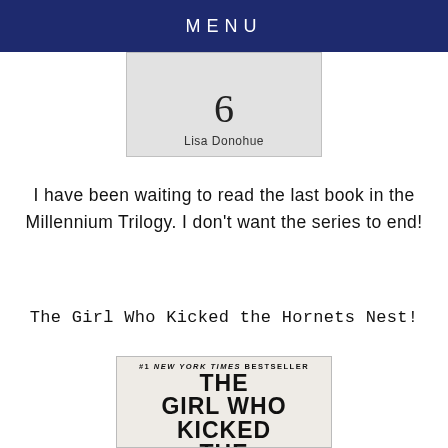MENU
[Figure (photo): Partial book cover showing the number 6 and author name Lisa Donohue]
I have been waiting to read the last book in the Millennium Trilogy. I don't want the series to end!
The Girl Who Kicked the Hornets Nest!
[Figure (photo): Book cover of 'The Girl Who Kicked the Hornet's Nest' - #1 New York Times Bestseller with large bold red and black title text and hornet illustrations]